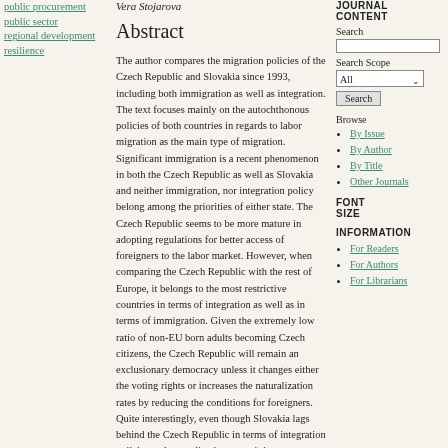public procurement
public sector
regional development
resilience
Vera Stojarova
Abstract
The author compares the migration policies of the Czech Republic and Slovakia since 1993, including both immigration as well as integration. The text focuses mainly on the autochthonous policies of both countries in regards to labor migration as the main type of migration. Significant immigration is a recent phenomenon in both the Czech Republic as well as Slovakia and neither immigration, nor integration policy belong among the priorities of either state. The Czech Republic seems to be more mature in adopting regulations for better access of foreigners to the labor market. However, when comparing the Czech Republic with the rest of Europe, it belongs to the most restrictive countries in terms of integration as well as in terms of immigration. Given the extremely low ratio of non-EU born adults becoming Czech citizens, the Czech Republic will remain an exclusionary democracy unless it changes either the voting rights or increases the naturalization rates by reducing the conditions for foreigners. Quite interestingly, even though Slovakia lags behind the Czech Republic in terms of integration policies and naturalization rates, it is more inclusive in terms of political rights.
JOURNAL CONTENT
Search
Search Scope
Browse
By Issue
By Author
By Title
Other Journals
FONT SIZE
INFORMATION
For Readers
For Authors
For Librarians